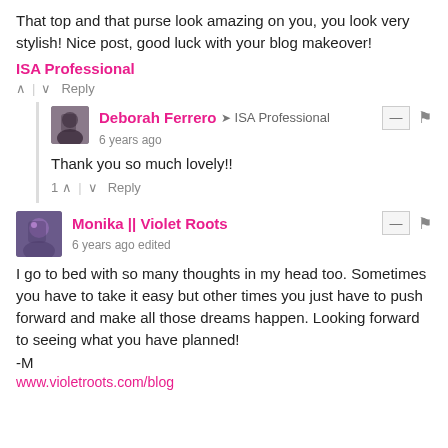That top and that purse look amazing on you, you look very stylish! Nice post, good luck with your blog makeover!
ISA Professional
^ | v   Reply
Deborah Ferrero → ISA Professional
6 years ago
Thank you so much lovely!!
1 ^ | v   Reply
Monika || Violet Roots
6 years ago edited
I go to bed with so many thoughts in my head too. Sometimes you have to take it easy but other times you just have to push forward and make all those dreams happen. Looking forward to seeing what you have planned!
-M
www.violetroots.com/blog